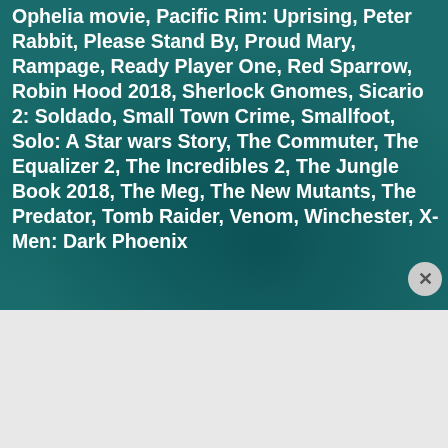Ophelia movie, Pacific Rim: Uprising, Peter Rabbit, Please Stand By, Proud Mary, Rampage, Ready Player One, Red Sparrow, Robin Hood 2018, Sherlock Gnomes, Sicario 2: Soldado, Small Town Crime, Smallfoot, Solo: A Star wars Story, The Commuter, The Equalizer 2, The Incredibles 2, The Jungle Book 2018, The Meg, The New Mutants, The Predator, Tomb Raider, Venom, Winchester, X-Men: Dark Phoenix
[Figure (screenshot): DuckDuckGo advertisement banner: orange background with text 'Search, browse, and email with more privacy. All in One Free App' and a phone image with DuckDuckGo logo]